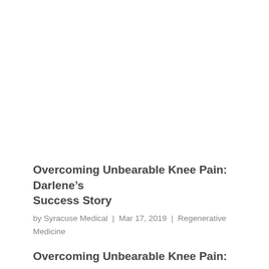[Figure (photo): Large image placeholder at top of article, white/blank area]
Overcoming Unbearable Knee Pain: Darlene’s Success Story
by Syracuse Medical | Mar 17, 2019 | Regenerative Medicine
Overcoming Unbearable Knee Pain: